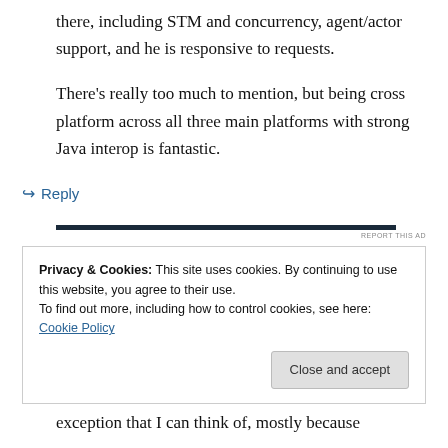there, including STM and concurrency, agent/actor support, and he is responsive to requests.
There’s really too much to mention, but being cross platform across all three main platforms with strong Java interop is fantastic.
↳ Reply
[Figure (other): Dark horizontal ad bar with REPORT THIS AD label]
Privacy & Cookies: This site uses cookies. By continuing to use this website, you agree to their use.
To find out more, including how to control cookies, see here: Cookie Policy
Close and accept
exception that I can think of, mostly because